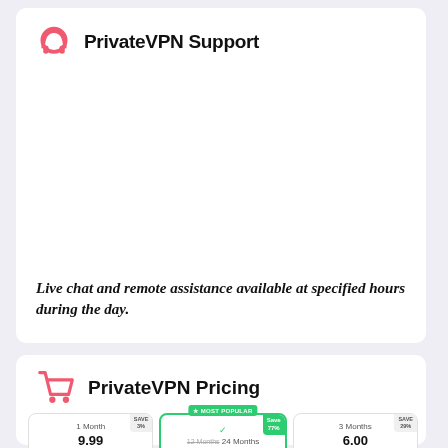PrivateVPN Support
Live chat and remote assistance available at specified hours during the day.
PrivateVPN Pricing
[Figure (infographic): Pricing plan cards showing 1 Month at 9.99 USD, 24 Months (most popular, save 77%) at 2.50 USD, and 3 Months at 6.00 USD]